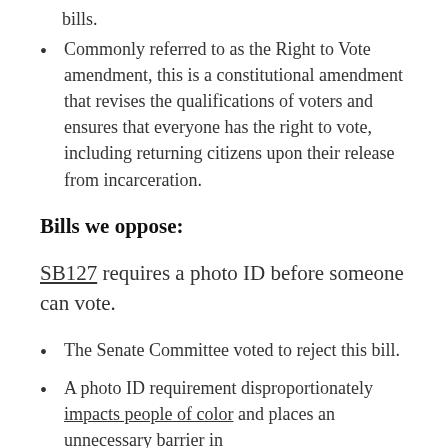bills.
Commonly referred to as the Right to Vote amendment, this is a constitutional amendment that revises the qualifications of voters and ensures that everyone has the right to vote, including returning citizens upon their release from incarceration.
Bills we oppose:
SB127 requires a photo ID before someone can vote.
The Senate Committee voted to reject this bill.
A photo ID requirement disproportionately impacts people of color and places an unnecessary barrier in front of emerging eligibility to cast their vote.